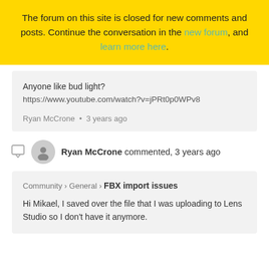The forum on this site is closed for new comments and posts. Continue the conversation in the new forum, and learn more here.
Anyone like bud light?
https://www.youtube.com/watch?v=jPRt0p0WPv8
Ryan McCrone • 3 years ago
Ryan McCrone commented, 3 years ago
Community › General › FBX import issues
Hi Mikael, I saved over the file that I was uploading to Lens Studio so I don't have it anymore.